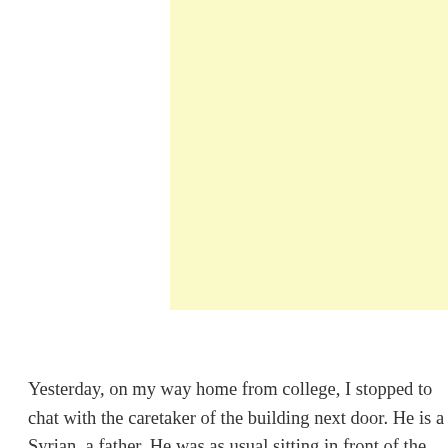[Figure (other): A pale yellow rectangular block, likely a placeholder image or advertisement area.]
Yesterday, on my way home from college, I stopped to chat with the caretaker of the building next door. He is a Syrian, a father. He was as usual sitting in front of the entrance to the building, engrossed in his phone. He followed the events in Ukraine, the devastated cities and above all the exodus of refugees, the queues, the children being carried, the disarray, the dragged suitcases, the reception centres. The destruction was already reminiscent of the horrors in Syria. The young man showed real